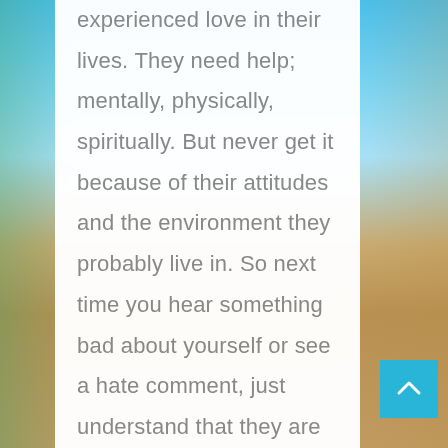experienced love in their lives. They need help; mentally, physically, spiritually. But never get it because of their attitudes and the environment they probably live in. So next time you hear something bad about yourself or see a hate comment, just understand that they are taking out their frustration by believing and saying something less of you. In a way, you're still helping